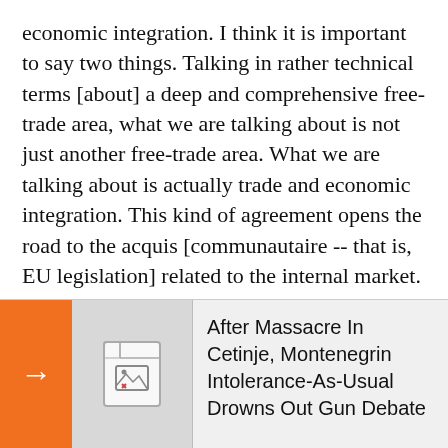economic integration. I think it is important to say two things. Talking in rather technical terms [about] a deep and comprehensive free-trade area, what we are talking about is not just another free-trade area. What we are talking about is actually trade and economic integration. This kind of agreement opens the road to the acquis [communautaire -- that is, EU legislation] related to the internal market. This is actually how these countries could make significant progress towards then later, eventually becoming members of the European Economic Area. This is the way how [while] not being an EU member you are still able to align yourself, your economy, your finances, your acquis we have related to the rather complex
[Figure (screenshot): A UI widget overlay showing an orange arrow button on the left, a broken image placeholder in the center, and text reading 'After Massacre In Cetinje, Montenegrin Intolerance-As-Usual Drowns Out Gun Debate' on the right.]